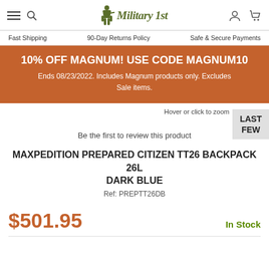Military 1st — Fast Shipping | 90-Day Returns Policy | Safe & Secure Payments
10% OFF MAGNUM! USE CODE MAGNUM10 Ends 08/23/2022. Includes Magnum products only. Excludes Sale items.
Hover or click to zoom
LAST FEW
Be the first to review this product
MAXPEDITION PREPARED CITIZEN TT26 BACKPACK 26L DARK BLUE
Ref: PREPTT26DB
$501.95
In Stock